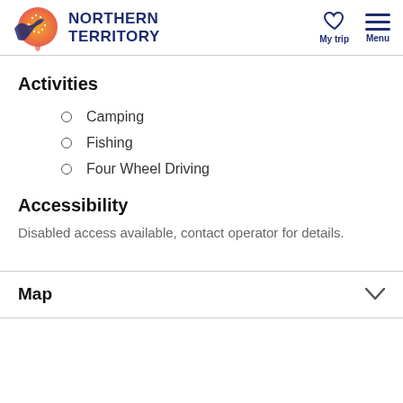Northern Territory
Activities
Camping
Fishing
Four Wheel Driving
Accessibility
Disabled access available, contact operator for details.
Map